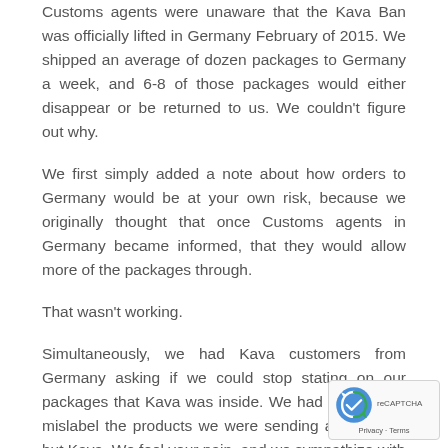Customs agents were unaware that the Kava Ban was officially lifted in Germany February of 2015. We shipped an average of dozen packages to Germany a week, and 6-8 of those packages would either disappear or be returned to us. We couldn't figure out why.
We first simply added a note about how orders to Germany would be at your own risk, because we originally thought that once Customs agents in Germany became informed, that they would allow more of the packages through.
That wasn't working.
Simultaneously, we had Kava customers from Germany asking if we could stop stating on our packages that Kava was inside. We had requests to mislabel the products we were sending as anything but Kava. We feel your pain, and we sympathize with